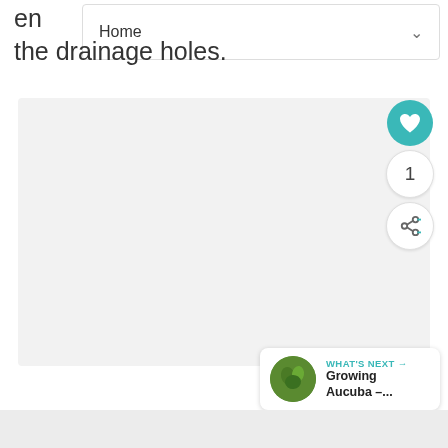en... the drainage holes.
[Figure (screenshot): Navigation bar with 'Home' label and chevron dropdown arrow]
[Figure (photo): Large light gray image/photo placeholder area]
[Figure (infographic): Social interaction buttons: heart/like button (teal), like count showing 1, share button]
[Figure (infographic): What's Next panel showing a green plant thumbnail with text 'WHAT'S NEXT → Growing Aucuba –...']